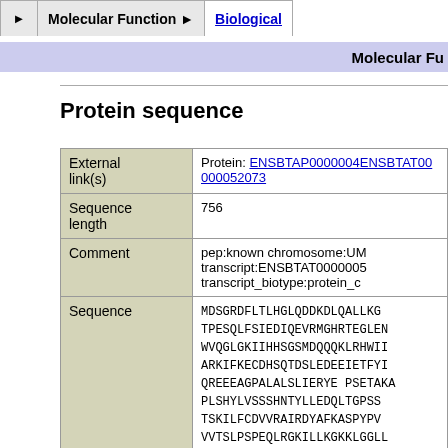▶  Molecular Function ▶  Biological
Molecular Fu
Protein sequence
|  |  |
| --- | --- |
| External link(s) | Protein: ENSBTAP0000004... ENSBTAT00000052073 |
| Sequence length | 756 |
| Comment | pep:known chromosome:UM transcript:ENSBTAT0000005... transcript_biotype:protein_c |
| Sequence | MDSGRDFLTLHGLQDDKDLQALLKG... TPESQLFSIEDIQEVRMGHRTEGLEN WVQGLGKIIHHSGSMDQQQKLRHWII ARKIFKECDHSQTDSLEDEEIETFYI QREEEAGPALALSLIERYE PSETAKA PLSHYLVSSSHNTYLLEDQLTGPSS TSKILFCDVVRAIRDYAFKASPYPV VVTSLPSPEQLRGKILLKGKKLGGLL SKEDKLRLAKELSDMVIYCKSVHFR RHNVNHLSRIYTYPAGWRTDSSNYSPV |